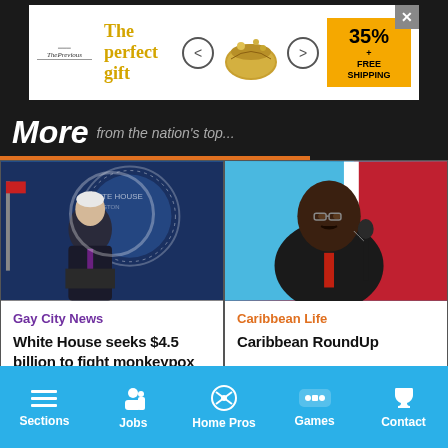[Figure (screenshot): Advertisement banner: 'The perfect gift' with bowl illustration, arrows, 35% FREE SHIPPING badge]
More from the nation's...
[Figure (photo): President Biden speaking at White House podium]
Gay City News
White House seeks $4.5 billion to fight monkeypox
[Figure (photo): Caribbean political figure speaking at podium with microphone, red and blue flags in background]
Caribbean Life
Caribbean RoundUp
[Figure (photo): Balloons or sky image, partially visible]
[Figure (photo): Outdoor scene with greenery, partially visible]
Sections  Jobs  Home Pros  Games  Contact